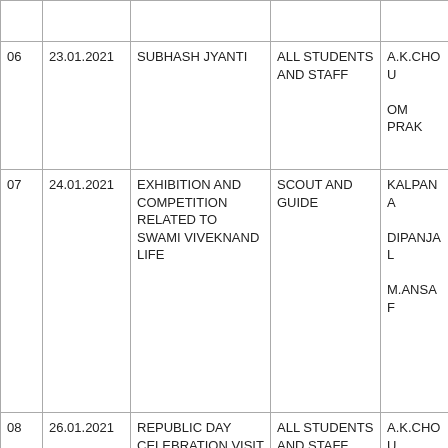|  |  |  |  |  |
| --- | --- | --- | --- | --- |
|  |  |  |  |  |
| 06 | 23.01.2021 | SUBHASH JYANTI | ALL STUDENTS AND STAFF | A.K.CHOU

OM PRAK |
| 07 | 24.01.2021 | EXHIBITION AND COMPETITION RELATED TO SWAMI VIVEKNAND LIFE | SCOUT AND GUIDE | KALPANA

DIPANJAL

M.ANSAF |
| 08 | 26.01.2021 | REPUBLIC DAY CELEBRATION VISIT OF STUDENTS IN ART AND MUSEUM | ALL STUDENTS AND STAFF | A.K.CHOU

G.R.SING

DIPANJAL

ART TEAC |
| 09 | 27.01.2021 | HEALTH CHECKUP OF | iNTER HOUSE | IOKENDR |